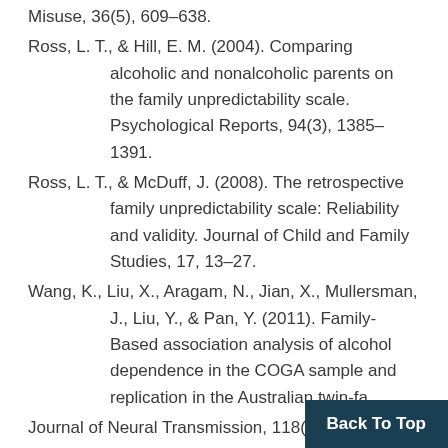Misuse, 36(5), 609–638.
Ross, L. T., & Hill, E. M. (2004). Comparing alcoholic and nonalcoholic parents on the family unpredictability scale. Psychological Reports, 94(3), 1385–1391.
Ross, L. T., & McDuff, J. (2008). The retrospective family unpredictability scale: Reliability and validity. Journal of Child and Family Studies, 17, 13–27.
Wang, K., Liu, X., Aragam, N., Jian, X., Mullersman, J., Liu, Y., & Pan, Y. (2011). Family-Based association analysis of alcohol dependence in the COGA sample and replication in the Australian twin-fa… Journal of Neural Transmission, 118(9), 1293…